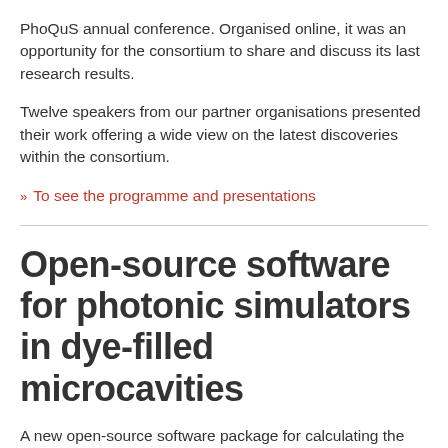PhoQuS annual conference. Organised online, it was an opportunity for the consortium to share and discuss its last research results.
Twelve speakers from our partner organisations presented their work offering a wide view on the latest discoveries within the consortium.
>> To see the programme and presentations
Open-source software for photonic simulators in dye-filled microcavities
A new open-source software package for calculating the